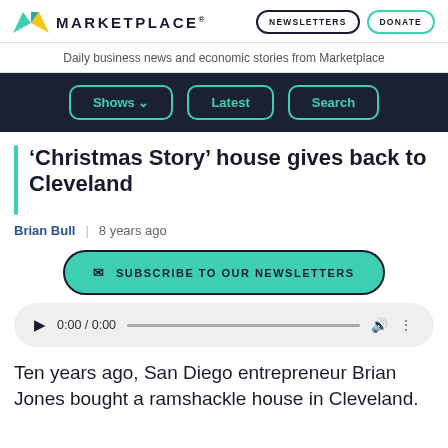MARKETPLACE
Daily business news and economic stories from Marketplace
Shows | Latest | Search
'Christmas Story' house gives back to Cleveland
Brian Bull  |  8 years ago
SUBSCRIBE TO OUR NEWSLETTERS
0:00 / 0:00
Ten years ago, San Diego entrepreneur Brian Jones bought a ramshackle house in Cleveland.